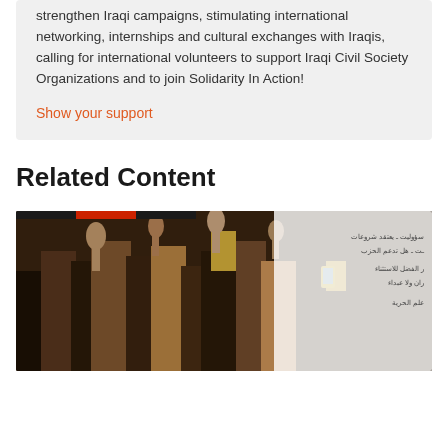strengthen Iraqi campaigns, stimulating international networking, internships and cultural exchanges with Iraqis, calling for international volunteers to support Iraqi Civil Society Organizations and to join Solidarity In Action!
Show your support
Related Content
[Figure (photo): A crowd of protesters, some with raised fists, with Arabic text visible on a sign or banner on the right side of the image.]